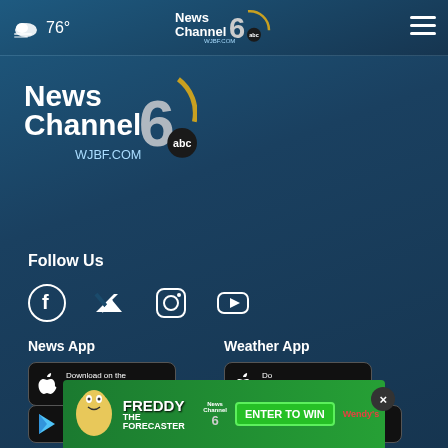76° — NewsChannel 6 WJBF.COM ABC — hamburger menu
[Figure (logo): NewsChannel 6 WJBF.COM ABC logo, large version on teal/blue background]
Follow Us
[Figure (infographic): Social media icons: Facebook, Twitter, Instagram, YouTube — white on blue background]
News App
Weather App
[Figure (screenshot): Download on the App Store button (dark) for News App]
[Figure (screenshot): Download on the App Store button (dark) for Weather App]
[Figure (infographic): Advertisement banner: Freddy The Forecaster — NewsChannel 6 — ENTER TO WIN — Wendy's — green background]
[Figure (screenshot): Google Play store buttons for News App and Weather App (partial, at bottom)]